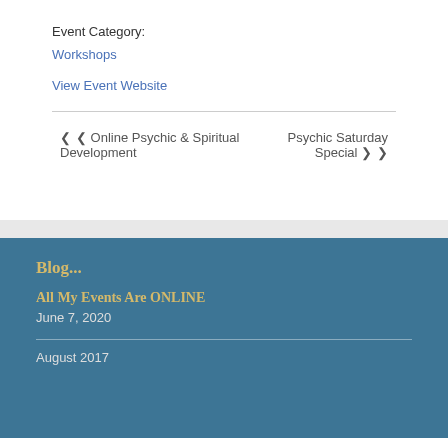Event Category:
Workshops
View Event Website
‹ Online Psychic & Spiritual Development
Psychic Saturday Special ›
Blog...
All My Events Are ONLINE
June 7, 2020
August 2017